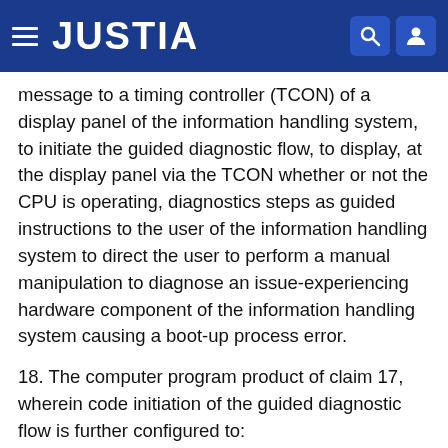JUSTIA
message to a timing controller (TCON) of a display panel of the information handling system, to initiate the guided diagnostic flow, to display, at the display panel via the TCON whether or not the CPU is operating, diagnostics steps as guided instructions to the user of the information handling system to direct the user to perform a manual manipulation to diagnose an issue-experiencing hardware component of the information handling system causing a boot-up process error.
18. The computer program product of claim 17, wherein code initiation of the guided diagnostic flow is further configured to:
copy, via the TCON, the one or more guided instructions or images stored on a flash memory